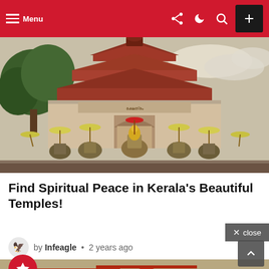Menu
[Figure (photo): Kerala temple festival with decorated elephants holding ceremonial umbrellas in front of a traditional Kerala temple with red-tiled roof]
Find Spiritual Peace in Kerala's Beautiful Temples!
by Infeagle • 2 years ago
[Figure (photo): Partial view of another temple building with ornate roof architecture]